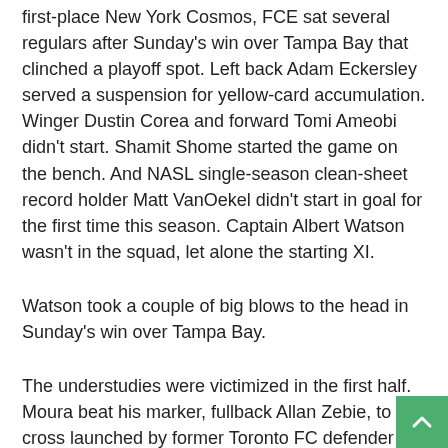first-place New York Cosmos, FCE sat several regulars after Sunday's win over Tampa Bay that clinched a playoff spot. Left back Adam Eckersley served a suspension for yellow-card accumulation. Winger Dustin Corea and forward Tomi Ameobi didn't start. Shamit Shome started the game on the bench. And NASL single-season clean-sheet record holder Matt VanOekel didn't start in goal for the first time this season. Captain Albert Watson wasn't in the squad, let alone the starting XI.
Watson took a couple of big blows to the head in Sunday's win over Tampa Bay.
The understudies were victimized in the first half. Moura beat his marker, fullback Allan Zebie, to a cross launched by former Toronto FC defender Julius James. Moura sent his headed-effort goalward; keeper Tyson Farago, playing for the first time this NASL season, leapt and got his hand to the ball, but couldn't keep it out.